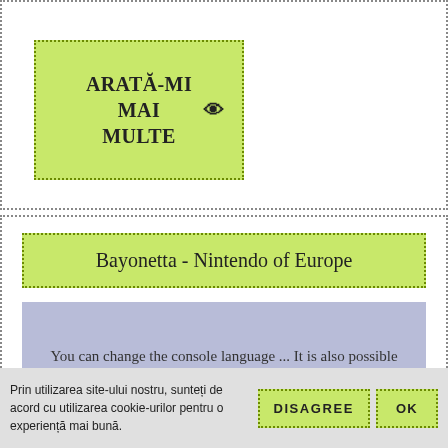[Figure (screenshot): Green button with dotted border labeled ARATĂ-MI MAI MULTE (top)]
Bayonetta - Nintendo of Europe
You can change the console language ... It is also possible to change the language of the ... lol. The following controllers can be used with this.
[Figure (screenshot): Green button with dotted border labeled ARATĂ-MI MAI MULTE (bottom)]
Prin utilizarea site-ului nostru, sunteți de acord cu utilizarea cookie-urilor pentru o experiență mai bună.